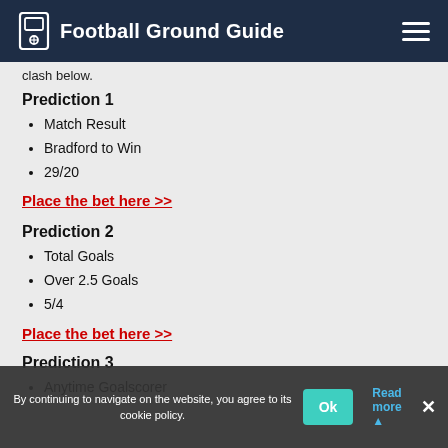Football Ground Guide
clash below.
Prediction 1
Match Result
Bradford to Win
29/20
Place the bet here >>
Prediction 2
Total Goals
Over 2.5 Goals
5/4
Place the bet here >>
Prediction 3
Anytime Goalscorer
By continuing to navigate on the website, you agree to its cookie policy.